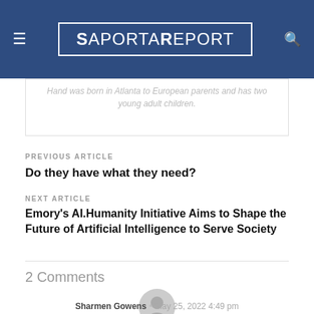SaportaReport
...Hand was born in Atlanta to European parents and has two young adult children.
PREVIOUS ARTICLE
Do they have what they need?
NEXT ARTICLE
Emory's AI.Humanity Initiative Aims to Shape the Future of Artificial Intelligence to Serve Society
2 Comments
[Figure (illustration): Generic user avatar icon — grey circle with person silhouette]
Sharmen Gowens • May 25, 2022 4:49 pm